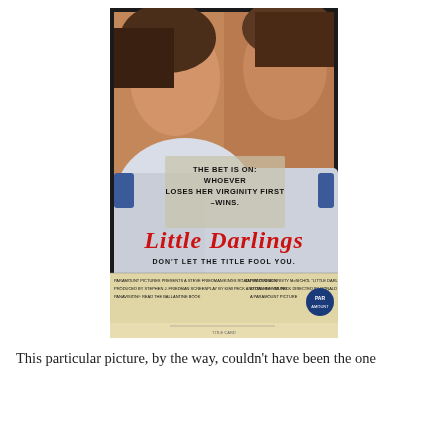[Figure (photo): Movie poster for 'Little Darlings' (1980). Shows two teenage girls in white t-shirts back to back, smiling. Text on poster reads: 'THE BET IS ON: WHOEVER LOSES HER VIRGINITY FIRST –WINS.' Title in large red cursive script: 'Little Darlings'. Below: 'DON'T LET THE TITLE FOOL YOU.' Bottom credits: Paramount Pictures presents a Steve Friedman/Kings Road Production, Tatum O'Neal, Kristy McNichol. Directed by Ronald F. Maxwell. A Paramount Picture.]
This particular picture, by the way, couldn't have been the one